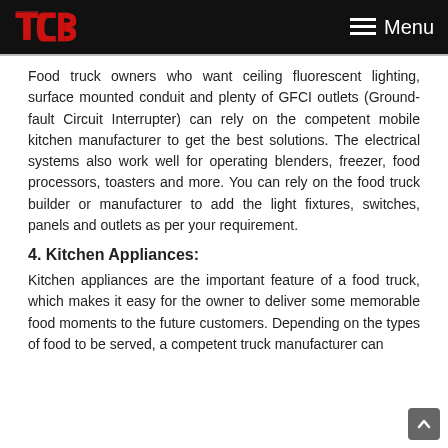TCB logo | Menu
Food truck owners who want ceiling fluorescent lighting, surface mounted conduit and plenty of GFCI outlets (Ground-fault Circuit Interrupter) can rely on the competent mobile kitchen manufacturer to get the best solutions. The electrical systems also work well for operating blenders, freezer, food processors, toasters and more. You can rely on the food truck builder or manufacturer to add the light fixtures, switches, panels and outlets as per your requirement.
4. Kitchen Appliances:
Kitchen appliances are the important feature of a food truck, which makes it easy for the owner to deliver some memorable food moments to the future customers. Depending on the types of food to be served, a competent truck manufacturer can